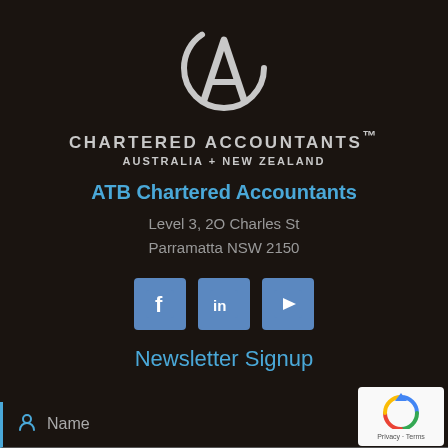[Figure (logo): Chartered Accountants Australia + New Zealand CA logo mark in light grey on dark background]
CHARTERED ACCOUNTANTS™
AUSTRALIA + NEW ZEALAND
ATB Chartered Accountants
Level 3, 2O Charles St
Parramatta NSW 2150
[Figure (infographic): Three social media icons: Facebook, LinkedIn, YouTube on blue square backgrounds]
Newsletter Signup
Name
Email Address